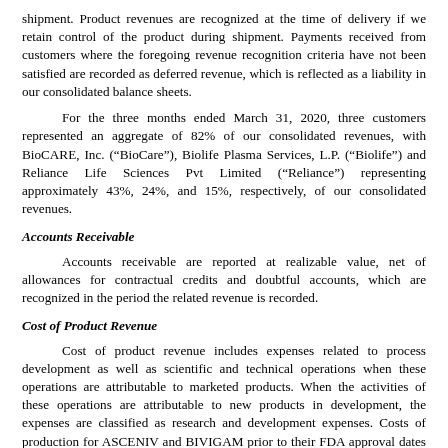shipment. Product revenues are recognized at the time of delivery if we retain control of the product during shipment. Payments received from customers where the foregoing revenue recognition criteria have not been satisfied are recorded as deferred revenue, which is reflected as a liability in our consolidated balance sheets.
For the three months ended March 31, 2020, three customers represented an aggregate of 82% of our consolidated revenues, with BioCARE, Inc. (“BioCare”), Biolife Plasma Services, L.P. (“Biolife”) and Reliance Life Sciences Pvt Limited (“Reliance”) representing approximately 43%, 24%, and 15%, respectively, of our consolidated revenues.
Accounts Receivable
Accounts receivable are reported at realizable value, net of allowances for contractual credits and doubtful accounts, which are recognized in the period the related revenue is recorded.
Cost of Product Revenue
Cost of product revenue includes expenses related to process development as well as scientific and technical operations when these operations are attributable to marketed products. When the activities of these operations are attributable to new products in development, the expenses are classified as research and development expenses. Costs of production for ASCENIV and BIVIGAM prior to their FDA approval dates of April 1, 2019 and May 9, 2019, respectively, were not capitalized into inventory but were instead expensed as incurred.